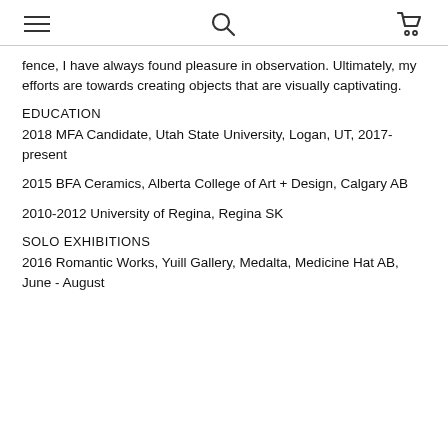≡  🔍  🛒
fence, I have always found pleasure in observation. Ultimately, my efforts are towards creating objects that are visually captivating.
EDUCATION
2018 MFA Candidate, Utah State University, Logan, UT, 2017-present
2015 BFA Ceramics, Alberta College of Art + Design, Calgary AB
2010-2012 University of Regina, Regina SK
SOLO EXHIBITIONS
2016 Romantic Works, Yuill Gallery, Medalta, Medicine Hat AB, June - August